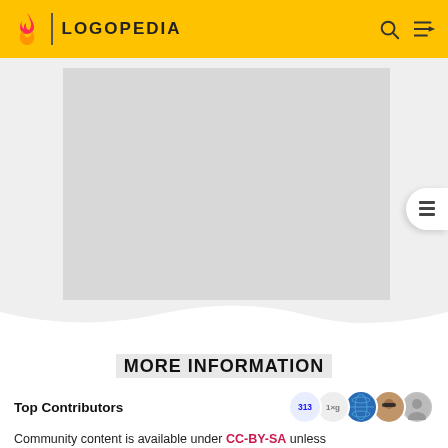LOGOPEDIA
[Figure (screenshot): Advertisement placeholder area (grey rectangle)]
MORE INFORMATION
Top Contributors
Categories
Community content is available under CC-BY-SA unless